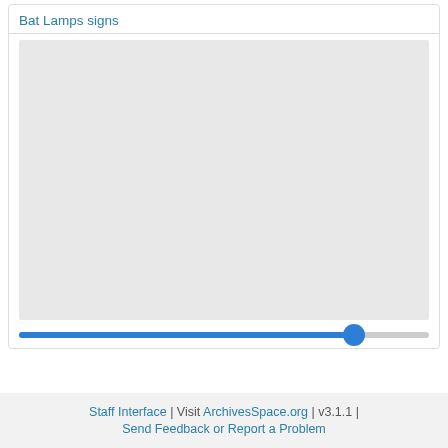Bat Lamps signs
[Figure (photo): Large grey placeholder image area showing no visible image content]
Staff Interface | Visit ArchivesSpace.org | v3.1.1 | Send Feedback or Report a Problem